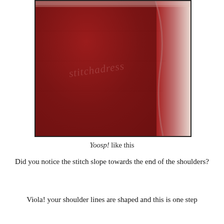[Figure (photo): A close-up photo of red fabric laid flat, showing the shoulder area of a garment being sewn. The fabric has visible raw edges on the sides. A watermark reading 'stitchadress' is overlaid diagonally in script text.]
Yoosp! like this
Did you notice the stitch slope towards the end of the shoulders?
Viola! your shoulder lines are shaped and this is one step